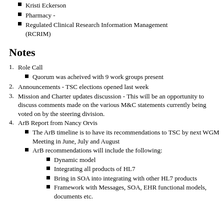Kristi Eckerson
Pharmacy -
Regulated Clinical Research Information Management (RCRIM)
Notes
1. Role Call
Quorum was acheived with 9 work groups present
2. Announcements - TSC elections opened last week
3. Mission and Charter updates discussion - This will be an opportunity to discuss comments made on the various M&C statements currently being voted on by the steering division.
4. ArB Report from Nancy Orvis
The ArB timeline is to have its recommendations to TSC by next WGM Meeting in June, July and August
ArB recommendations will include the following:
Dynamic model
Integrating all products of HL7
Bring in SOA into integrating with other HL7 products
Framework with Messages, SOA, EHR functional models, documents etc.